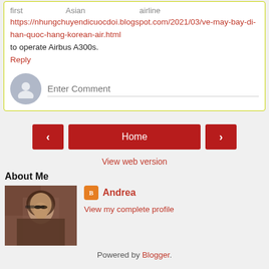first   Asian   airline
https://nhungchuyendicuocdoi.blogspot.com/2021/03/ve-may-bay-di-han-quoc-hang-korean-air.html
to operate Airbus A300s.
Reply
[Figure (other): Enter comment input with avatar placeholder]
[Figure (other): Navigation buttons: left arrow, Home, right arrow]
View web version
About Me
[Figure (photo): Profile photo of Andrea - woman with glasses and dark hair]
Andrea
View my complete profile
Powered by Blogger.